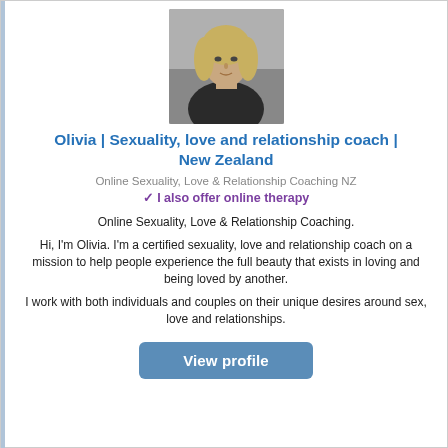[Figure (photo): Black and white headshot photo of a young woman with wavy blonde hair]
Olivia | Sexuality, love and relationship coach | New Zealand
Online Sexuality, Love & Relationship Coaching NZ
✓ I also offer online therapy
Online Sexuality, Love & Relationship Coaching.

Hi, I'm Olivia. I'm a certified sexuality, love and relationship coach on a mission to help people experience the full beauty that exists in loving and being loved by another.

I work with both individuals and couples on their unique desires around sex, love and relationships.
View profile